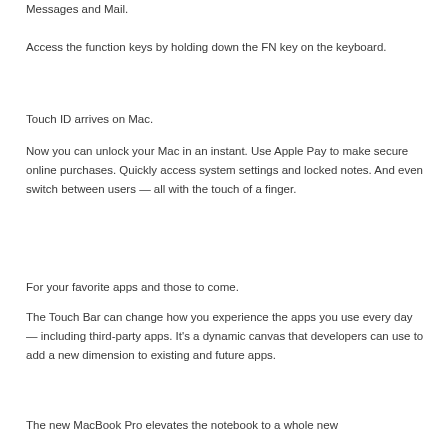Messages and Mail.
Access the function keys by holding down the FN key on the keyboard.
Touch ID arrives on Mac.
Now you can unlock your Mac in an instant. Use Apple Pay to make secure online purchases. Quickly access system settings and locked notes. And even switch between users — all with the touch of a finger.
For your favorite apps and those to come.
The Touch Bar can change how you experience the apps you use every day — including third-party apps. It's a dynamic canvas that developers can use to add a new dimension to existing and future apps.
The new MacBook Pro elevates the notebook to a whole new